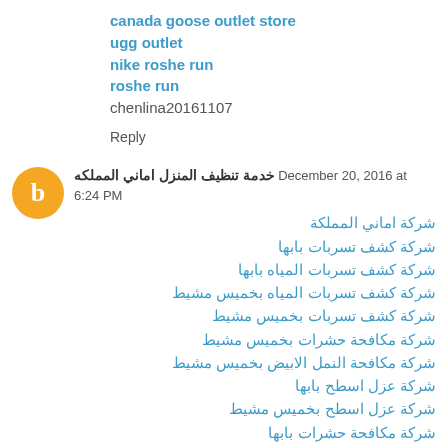canada goose outlet store
ugg outlet
nike roshe run
roshe run
chenlina20161107
Reply
خدمة تنظيف المنزل اماني المملكه December 20, 2016 at 6:24 PM
شركة اماني المملكة
شركة كشف تسربات بابها
شركة كشف تسربات المياه بابها
شركة كشف تسربات المياه بخميس مشيط
شركة كشف تسربات بخميس مشيط
شركة مكافحة حشرات بخميس مشيط
شركة مكافحة النمل الابيض بخميس مشيط
شركة عزل اسطح بابها
شركة عزل اسطح بخميس مشيط
شركة مكافحة حشرات بابها
شركة كشف تسربات المياه بالاحساء